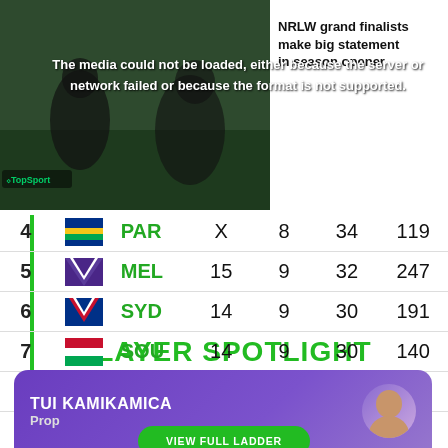[Figure (screenshot): Video player showing two people seated, with error overlay text: The media could not be loaded, either because the server or network failed or because the format is not supported.]
The media could not be loaded, either because the server or network failed or because the format is not supported.
NRLW grand finalists make big statement in season opener
| # | Logo | Team | Played | Lost | Points | Score |
| --- | --- | --- | --- | --- | --- | --- |
| 4 |  | PAR | X | 8 | 34 | 119 |
| 5 |  | MEL | 15 | 9 | 32 | 247 |
| 6 |  | SYD | 14 | 9 | 30 | 191 |
| 7 |  | SOU | 14 | 9 | 30 | 140 |
| 8 |  | CBR | 13 | 10 | 28 | 17 |
VIEW FULL LADDER
PLAYER SPOTLIGHT
TUI KAMIKAMICA
Prop